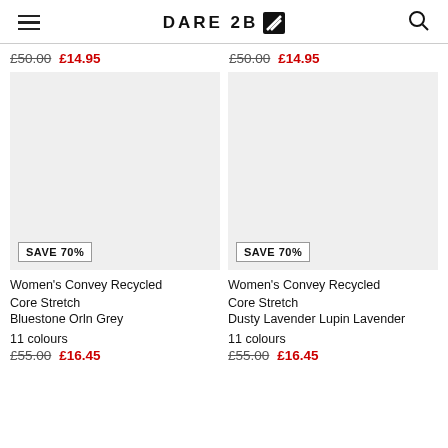DARE 2B
£50.00  £14.95  |  £50.00  £14.95
[Figure (photo): Product image placeholder (light grey background) for Women's Convey Recycled Core Stretch in Bluestone OrIn Grey, with SAVE 70% badge]
[Figure (photo): Product image placeholder (light grey background) for Women's Convey Recycled Core Stretch in Dusty Lavender Lupin Lavender, with SAVE 70% badge]
Women's Convey Recycled Core Stretch
Bluestone Orln Grey
Women's Convey Recycled Core Stretch
Dusty Lavender Lupin Lavender
11 colours
11 colours
£55.00  £16.45
£55.00  £16.45